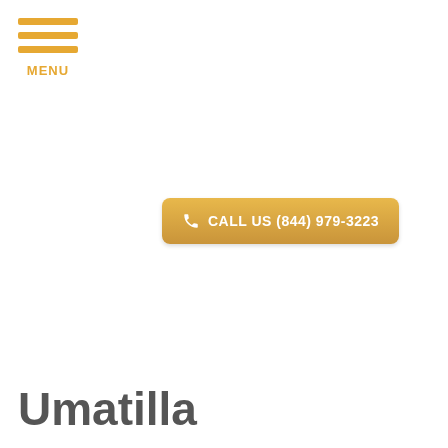[Figure (screenshot): Orange hamburger menu icon with three horizontal bars and MENU label below]
CALL US (844) 979-3223
CONTACT US
Umatilla